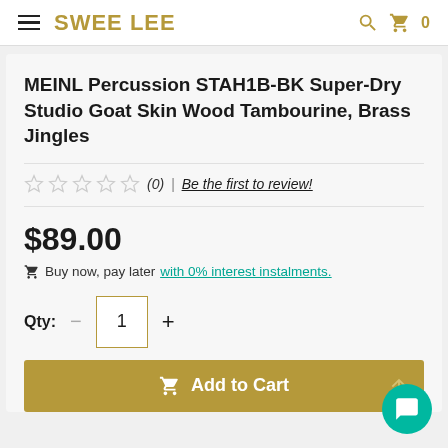SWEE LEE
MEINL Percussion STAH1B-BK Super-Dry Studio Goat Skin Wood Tambourine, Brass Jingles
(0) | Be the first to review!
$89.00
Buy now, pay later with 0% interest instalments.
Qty: 1
Add to Cart